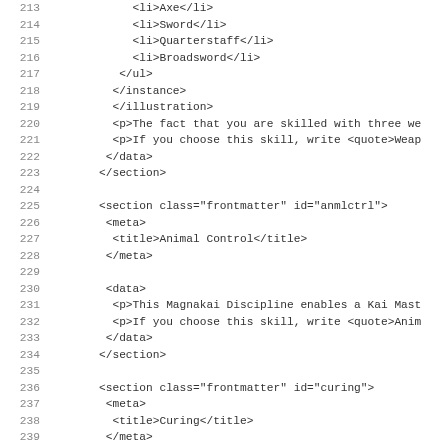Code listing lines 213-244 showing XML markup for weapon skills, Animal Control, and Curing sections
213     <li>Axe</li>
214     <li>Sword</li>
215     <li>Quarterstaff</li>
216     <li>Broadsword</li>
217     </ul>
218     </instance>
219     </illustration>
220     <p>The fact that you are skilled with three we
221     <p>If you choose this skill, write <quote>Weap
222     </data>
223     </section>
225     <section class="frontmatter" id="anmlctrl">
226      <meta>
227       <title>Animal Control</title>
228      </meta>
230      <data>
231       <p>This Magnakai Discipline enables a Kai Mast
232       <p>If you choose this skill, write <quote>Anim
233      </data>
234     </section>
236     <section class="frontmatter" id="curing">
237      <meta>
238       <title>Curing</title>
239      </meta>
241      <data>
242       <p>The possessor of this skill can restore 1 L
243       <p>If you choose this skill, write <quote>Curi
244      </data>